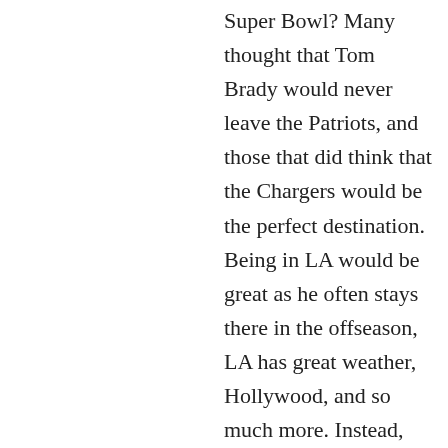Super Bowl? Many thought that Tom Brady would never leave the Patriots, and those that did think that the Chargers would be the perfect destination. Being in LA would be great as he often stays there in the offseason, LA has great weather, Hollywood, and so much more. Instead, Brady chose Tampa last spring, shocking the football world, but what has not been as much of a shocker is his playoff greatness, as he is yet again competing for a Super Bowl. Meanwhile, we see Aaron Rodgers